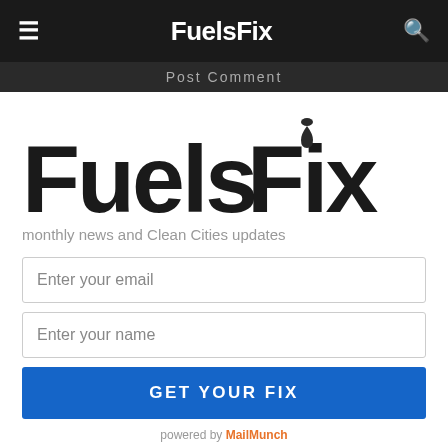FuelsFix — navigation bar with hamburger menu and search icon
Post Comment
[Figure (logo): FuelsFix large logo with water drop accent above letter i in Fix]
monthly news and Clean Cities updates
Enter your email
Enter your name
GET YOUR FIX
powered by MailMunch
English